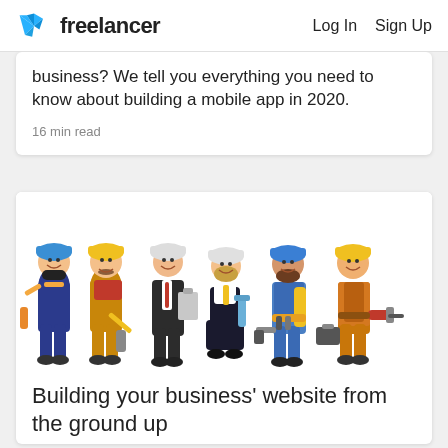Freelancer  Log In  Sign Up
business? We tell you everything you need to know about building a mobile app in 2020.
16 min read
[Figure (illustration): Six cartoon construction workers and tradespeople in hardhat/helmet, wearing work uniforms, holding tools such as paint roller, measuring tape, clipboard, blueprint, drill, and toolbox. Characters include both male and female figures in various colored outfits.]
Building your business' website from the ground up
Learn the complete end-to-end process of building a